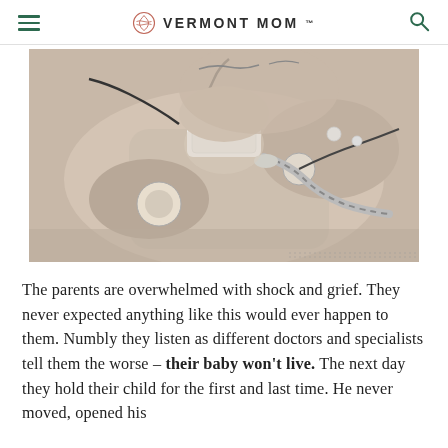VERMONT MOM
[Figure (photo): Black and white close-up photograph of a newborn baby in medical distress, with breathing tubes, ventilator tubing, and medical electrode patches attached to the baby's chest and face.]
The parents are overwhelmed with shock and grief. They never expected anything like this would ever happen to them. Numbly they listen as different doctors and specialists tell them the worse – their baby won't live. The next day they hold their child for the first and last time. He never moved, opened his